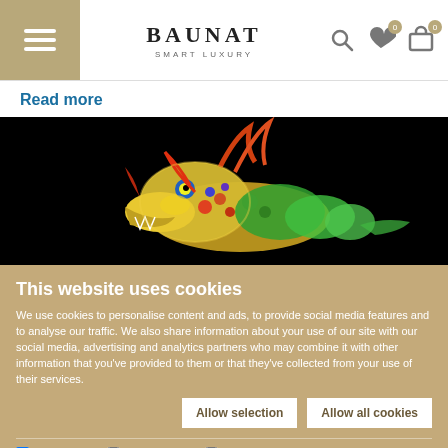BAUNAT SMART LUXURY — navigation header with menu, logo, search, wishlist (0), cart (0)
Read more
[Figure (photo): Colorful illuminated Chinese dragon head sculpture against a black background, showing bright yellows, reds, greens and blues]
This website uses cookies
We use cookies to personalise content and ads, to provide social media features and to analyse our traffic. We also share information about your use of our site with our social media, advertising and analytics partners who may combine it with other information that you've provided to them or that they've collected from your use of their services.
Allow selection | Allow all cookies
Necessary (checked) | Preferences | Statistics | Marketing | Show details